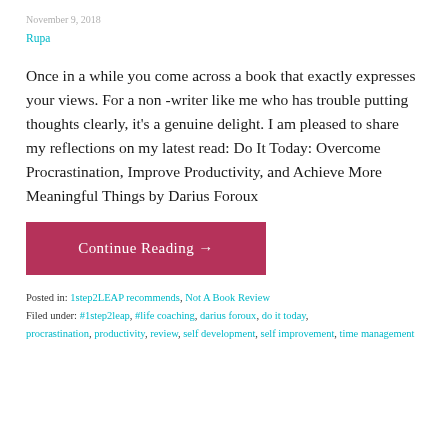November 9, 2018
Rupa
Once in a while you come across a book that exactly expresses your views. For a non -writer like me who has trouble putting thoughts clearly, it's a genuine delight. I am pleased to share my reflections on my latest read: Do It Today: Overcome Procrastination, Improve Productivity, and Achieve More Meaningful Things by Darius Foroux
Continue Reading →
Posted in: 1step2LEAP recommends, Not A Book Review
Filed under: #1step2leap, #life coaching, darius foroux, do it today, procrastination, productivity, review, self development, self improvement, time management